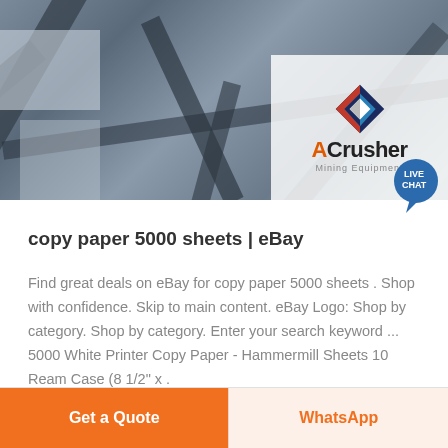[Figure (photo): Industrial machinery/steel structure photo with ACrusher Mining Equipment logo overlay and Live Chat bubble]
copy paper 5000 sheets | eBay
Find great deals on eBay for copy paper 5000 sheets . Shop with confidence. Skip to main content. eBay Logo: Shop by category. Shop by category. Enter your search keyword ... 5000 White Printer Copy Paper - Hammermill Sheets 10 Ream Case (8 1/2" x .